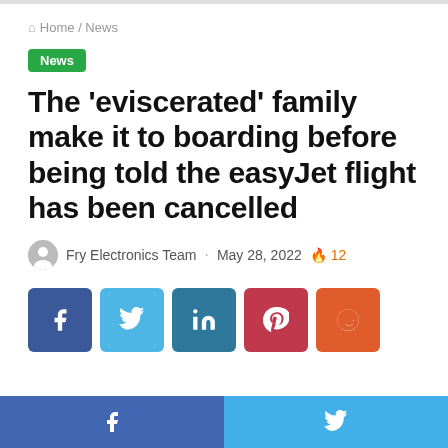Home / News
News
The ‘eviscerated’ family make it to boarding before being told the easyJet flight has been cancelled
Fry Electronics Team · May 28, 2022 🔥 12
[Figure (other): Social share buttons: Facebook (blue), Twitter (light blue), LinkedIn (dark blue), Pinterest (red), Reddit (orange)]
Facebook share | Twitter share